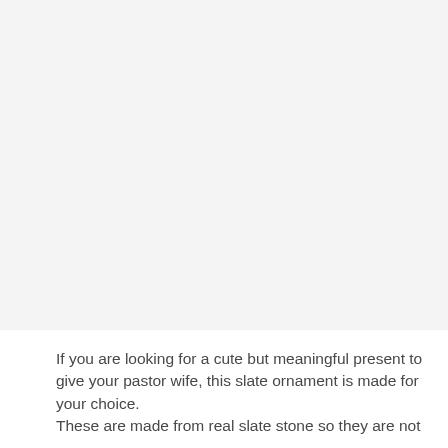[Figure (photo): Large image area showing a product photo (slate ornament), appears as a light gray placeholder in this rendering.]
If you are looking for a cute but meaningful present to give your pastor wife, this slate ornament is made for your choice.
These are made from real slate stone so they are not